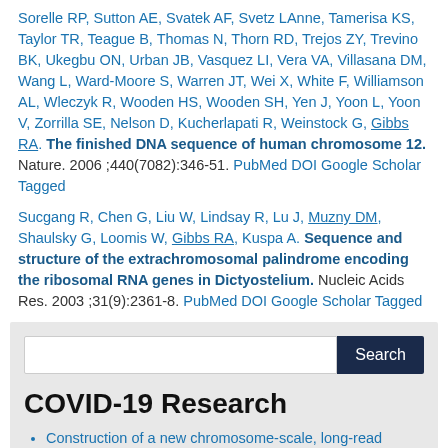Sorelle RP, Sutton AE, Svatek AF, Svetz LAnne, Tamerisa KS, Taylor TR, Teague B, Thomas N, Thorn RD, Trejos ZY, Trevino BK, Ukegbu ON, Urban JB, Vasquez LI, Vera VA, Villasana DM, Wang L, Ward-Moore S, Warren JT, Wei X, White F, Williamson AL, Wleczyk R, Wooden HS, Wooden SH, Yen J, Yoon L, Yoon V, Zorrilla SE, Nelson D, Kucherlapati R, Weinstock G, Gibbs RA. The finished DNA sequence of human chromosome 12. Nature. 2006 ;440(7082):346-51. PubMed DOI Google Scholar Tagged
Sucgang R, Chen G, Liu W, Lindsay R, Lu J, Muzny DM, Shaulsky G, Loomis W, Gibbs RA, Kuspa A. Sequence and structure of the extrachromosomal palindrome encoding the ribosomal RNA genes in Dictyostelium. Nucleic Acids Res. 2003 ;31(9):2361-8. PubMed DOI Google Scholar Tagged
Search box
COVID-19 Research
Construction of a new chromosome-scale, long-read